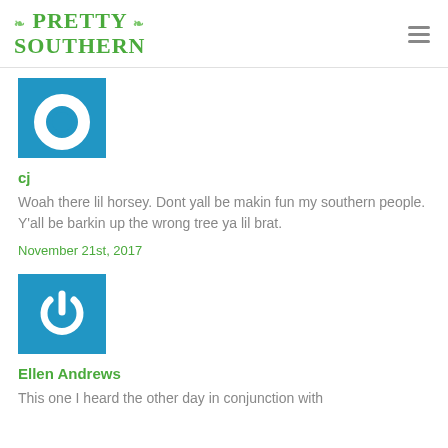PRETTY SOUTHERN
[Figure (illustration): Blue square avatar icon with white ring/circle shape, partial crop at top]
cj
Woah there lil horsey. Dont yall be makin fun my southern people. Y'all be barkin up the wrong tree ya lil brat.
November 21st, 2017
[Figure (illustration): Blue square avatar icon with white power button symbol]
Ellen Andrews
This one I heard the other day in conjunction with